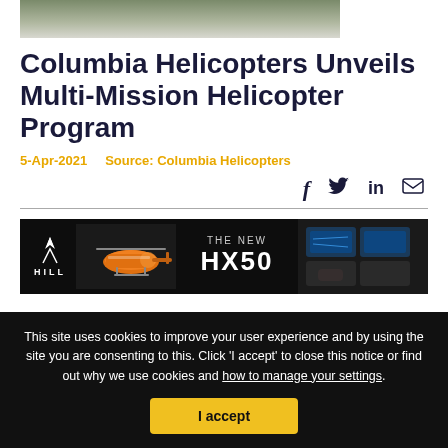[Figure (photo): Partial photo strip showing trees/foliage at top of page]
Columbia Helicopters Unveils Multi-Mission Helicopter Program
5-Apr-2021    Source: Columbia Helicopters
[Figure (screenshot): Advertisement banner for Hill HX50 helicopter — black background with Hill logo, orange helicopter model, and THE NEW HX50 text with cockpit view on right]
This site uses cookies to improve your user experience and by using the site you are consenting to this. Click 'I accept' to close this notice or find out why we use cookies and how to manage your settings.